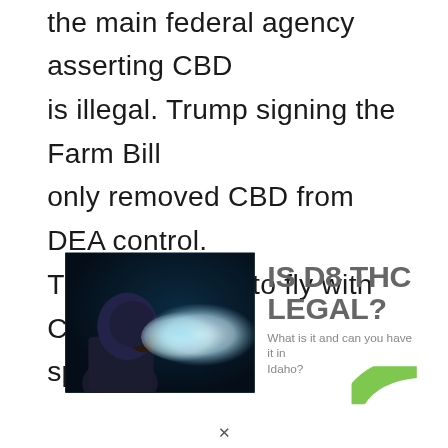the main federal agency asserting CBD is illegal. Trump signing the Farm Bill only removed CBD from DEA control. TSA allows you to fly with CBD, with special...
[Figure (photo): Person in dark hoodie exhaling a large cloud of vapor against a dark blue background]
[Figure (infographic): IS D8 THC LEGAL? What is it and can you have it in Idaho? Card with green leaf arc at bottom right.]